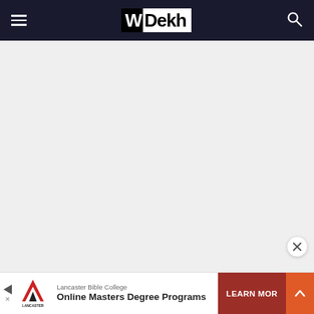WDekh — navigation bar with hamburger menu, logo, and search icon
[Figure (screenshot): Large light gray content area, blank/loading page body]
[Figure (other): Close (X) button in bottom-right corner of main content area]
[Figure (other): Lancaster Bible College advertisement banner with logo, text 'Online Masters Degree Programs', and LEARN MORE button]